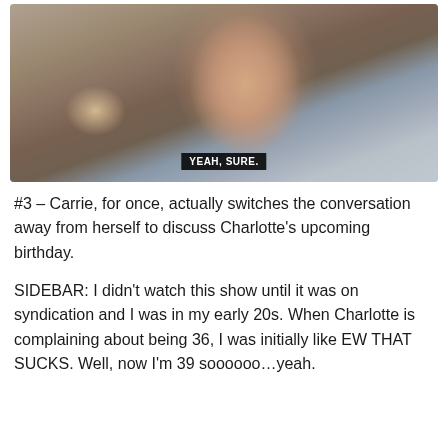[Figure (screenshot): Screenshot from a TV show or movie showing a young woman with brown hair wearing a blue plaid shirt. A subtitle reads 'YEAH, SURE.' at the bottom center of the image.]
#3 – Carrie, for once, actually switches the conversation away from herself to discuss Charlotte's upcoming birthday.
SIDEBAR: I didn't watch this show until it was on syndication and I was in my early 20s. When Charlotte is complaining about being 36, I was initially like EW THAT SUCKS. Well, now I'm 39 soooooo…yeah.